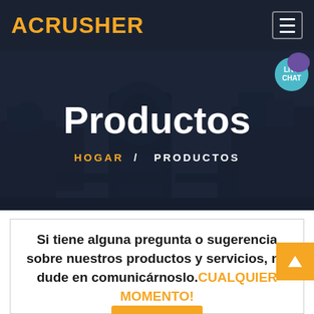ACRUSHER
[Figure (screenshot): Hero banner with industrial crushing machinery in dark overlay background]
Productos
HOGAR / PRODUCTOS
Si tiene alguna pregunta o sugerencia sobre nuestros productos y servicios, no dude en comunicárnoslo. CUALQUIER MOMENTO!